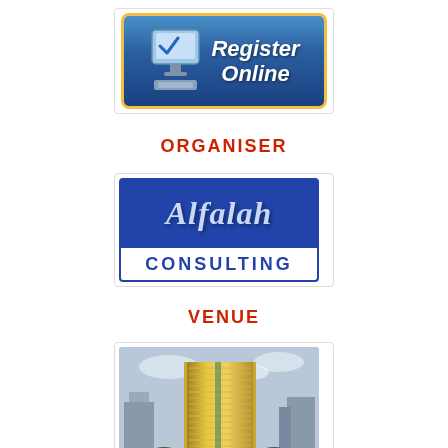[Figure (logo): Register Online button with computer monitor icon and checkmark, blue gradient background with gold border]
ORGANISER
[Figure (logo): Alfalah Consulting logo: blue background top half with italic script text 'Alfalah', white bottom half with blue bold text 'CONSULTING']
VENUE
[Figure (photo): Photograph of a tall modern golden-glass office building/hotel tower in an urban setting with city skyline in background]